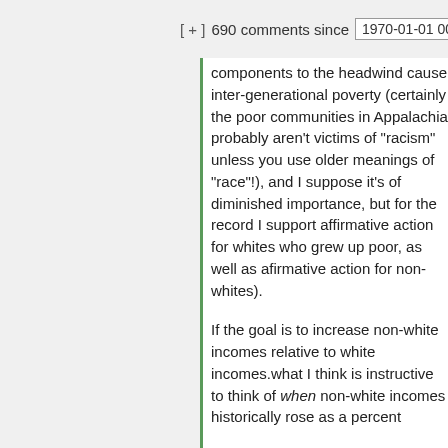[ + ] 690 comments since 1970-01-01 00:0
components to the headwind cause inter-generational poverty (certainly the poor communities in Appalachia probably aren't victims of "racism" unless you use older meanings of "race"!), and I suppose it's of diminished importance, but for the record I support affirmative action for whites who grew up poor, as well as afirmative action for non-whites). If the goal is to increase non-white incomes relative to white incomes.what I think is instructive to think of when non-white incomes historically rose as a percent